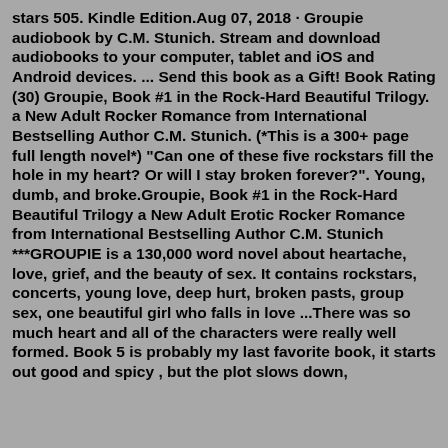stars 505. Kindle Edition.Aug 07, 2018 · Groupie audiobook by C.M. Stunich. Stream and download audiobooks to your computer, tablet and iOS and Android devices. ... Send this book as a Gift! Book Rating (30) Groupie, Book #1 in the Rock-Hard Beautiful Trilogy. a New Adult Rocker Romance from International Bestselling Author C.M. Stunich. (*This is a 300+ page full length novel*) "Can one of these five rockstars fill the hole in my heart? Or will I stay broken forever?". Young, dumb, and broke.Groupie, Book #1 in the Rock-Hard Beautiful Trilogy a New Adult Erotic Rocker Romance from International Bestselling Author C.M. Stunich ***GROUPIE is a 130,000 word novel about heartache, love, grief, and the beauty of sex. It contains rockstars, concerts, young love, deep hurt, broken pasts, group sex, one beautiful girl who falls in love ...There was so much heart and all of the characters were really well formed. Book 5 is probably my last favorite book, it starts out good and spicy , but the plot slows down, and becomes a lot of anticipation at End, bringing